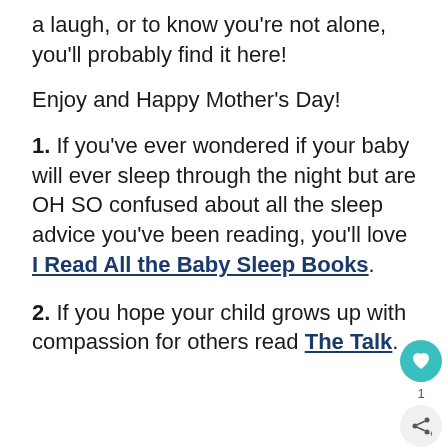a laugh, or to know you're not alone, you'll probably find it here!
Enjoy and Happy Mother's Day!
1. If you've ever wondered if your baby will ever sleep through the night but are OH SO confused about all the sleep advice you've been reading, you'll love I Read All the Baby Sleep Books.
2. If you hope your child grows up with compassion for others read The Talk.